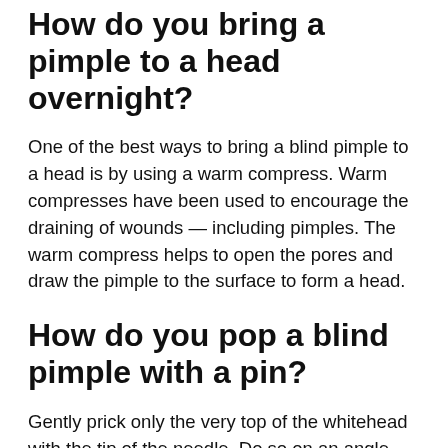How do you bring a pimple to a head overnight?
One of the best ways to bring a blind pimple to a head is by using a warm compress. Warm compresses have been used to encourage the draining of wounds — including pimples. The warm compress helps to open the pores and draw the pimple to the surface to form a head.
How do you pop a blind pimple with a pin?
Gently prick only the very top of the whitehead with the tip of the needle. Do so on an angle that is parallel to the skin. Don't go so deep that you draw blood. If this hurts,